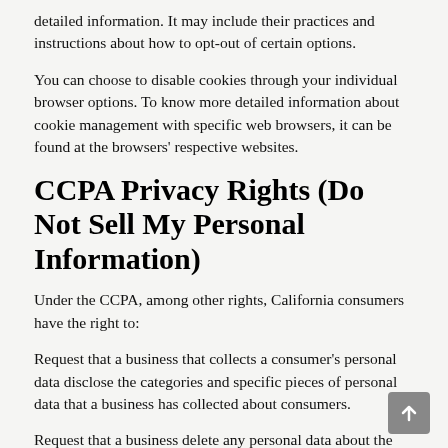detailed information. It may include their practices and instructions about how to opt-out of certain options.
You can choose to disable cookies through your individual browser options. To know more detailed information about cookie management with specific web browsers, it can be found at the browsers' respective websites.
CCPA Privacy Rights (Do Not Sell My Personal Information)
Under the CCPA, among other rights, California consumers have the right to:
Request that a business that collects a consumer's personal data disclose the categories and specific pieces of personal data that a business has collected about consumers.
Request that a business delete any personal data about the consumer that a business has collected.
Request that a business that sells a consumer's personal data,